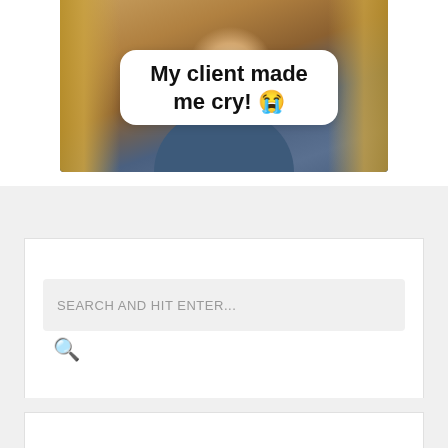[Figure (photo): Photo of a woman with blonde hair wearing a blue denim shirt, with a white rounded-rectangle text overlay reading 'My client made me cry! 😭']
My client made me cry! 😭
SEARCH AND HIT ENTER...